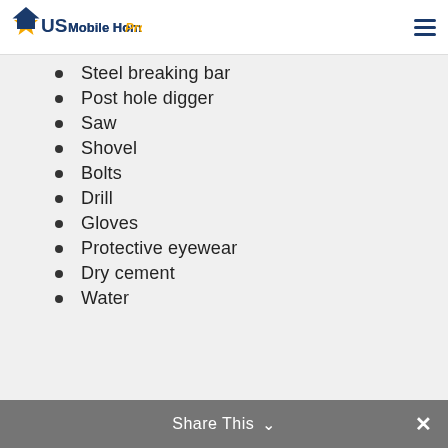US Mobile Home Pros
Steel breaking bar
Post hole digger
Saw
Shovel
Bolts
Drill
Gloves
Protective eyewear
Dry cement
Water
Share This ∨  ✕